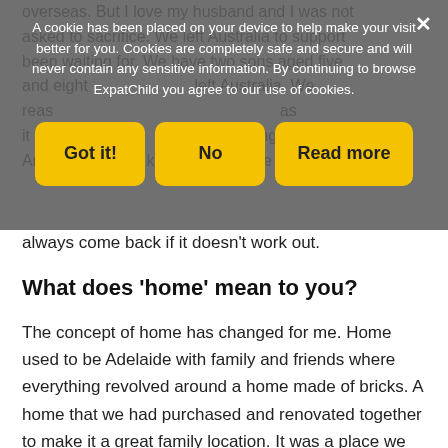overseas. But I love my husband and I was not asked to sacrifice. We left Australia to support the family we have been waiting for. We have two sons aged five and eight when we left Australia. We reason why we felt it was the right time as it was old enough to travel but still young. And as everyone kept saying to me you can always come back if it doesn't work out.
A cookie has been placed on your device to help make your visit better for you. Cookies are completely safe and secure and will never contain any sensitive information. By continuing to browse ExpatChild you agree to our use of cookies.
Got it!
No
Read more
always come back if it doesn't work out.
What does 'home' mean to you?
The concept of home has changed for me. Home used to be Adelaide with family and friends where everything revolved around a home made of bricks. A home that we had purchased and renovated together to make it a great family location. It was a place we had